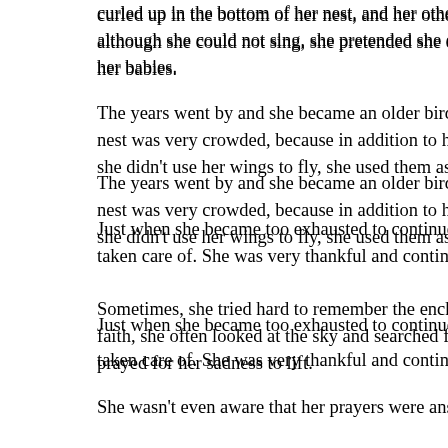curled up in the bottom of her nest, and her other babies snuggled clo although she could not sing, she pretended she could. Then she pour her babies.
The years went by and she became an older bird. Now her babies we nest was very crowded, because in addition to her own family she als she didn't use her wings to fly, she used them as a large canopy to co
Just when she became too exhausted to continue, suddenly another taken care of. She was very thankful and continued to diligently check
Sometimes, she tried hard to remember the enchanted forest from he faith, she often looked at the sky and searched for a sign. At her lowe prayed for her sadness to lift.
She wasn't even aware that her prayers were answered until the time blessing of hope was sprinkled softly into her soul, she felt herself spa again. At first, her song melodies were hesitant and hoarse. But gradu more confident, and soon all of her songs returned.
It was with her happiness, that she had the realization that she was b had happened, but she knew that it came to her when had completely
The more she sang, the more oppressive her nest became. It was tim started to let them know how being in the safety of their nest was no